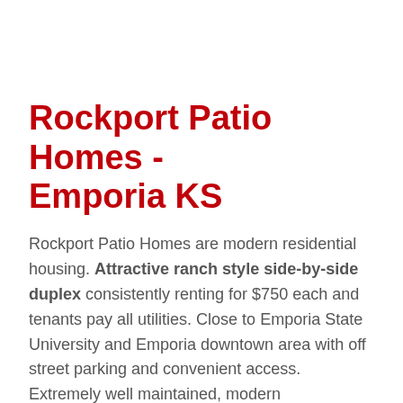Rockport Patio Homes - Emporia KS
Rockport Patio Homes are modern residential housing. Attractive ranch style side-by-side duplex consistently renting for $750 each and tenants pay all utilities. Close to Emporia State University and Emporia downtown area with off street parking and convenient access. Extremely well maintained, modern construction, easy to manage, and profitable.